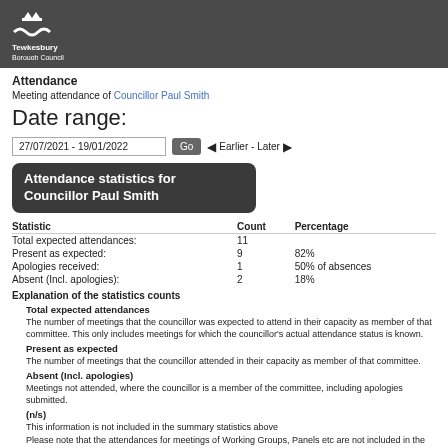Tewkesbury Borough Council
Attendance
Meeting attendance of Councillor Paul Smith
Date range:
27/07/2021 - 19/01/2022   Go   Earlier - Later
| Statistic | Count | Percentage |
| --- | --- | --- |
| Total expected attendances: | 11 |  |
| Present as expected: | 9 | 82% |
| Apologies received: | 1 | 50% of absences |
| Absent (Incl. apologies): | 2 | 18% |
Explanation of the statistics counts
Total expected attendances
The number of meetings that the councillor was expected to attend in their capacity as member of that committee. This only includes meetings for which the councillor's actual attendance status is known.
Present as expected
The number of meetings that the councillor attended in their capacity as member of that committee.
Absent (incl. apologies)
Meetings not attended, where the councillor is a member of the committee, including apologies submitted.
(n/s)
This information is not included in the summary statistics above
Please note that the attendances for meetings of Working Groups, Panels etc are not included in the statistics above. These statistics relate to public meetings of the Council and Committees only.
Other meeting statistics options
View statistics for each committee attended
Meeting summary for Councillor